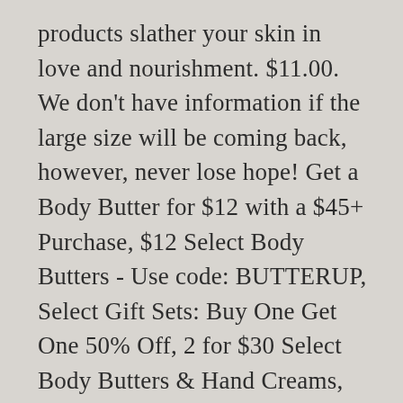products slather your skin in love and nourishment. $11.00. We don't have information if the large size will be coming back, however, never lose hope! Get a Body Butter for $12 with a $45+ Purchase, $12 Select Body Butters - Use code: BUTTERUP, Select Gift Sets: Buy One Get One 50% Off, 2 for $30 Select Body Butters & Hand Creams, Select Body Care Duo for $5 with $40 Purchase -$12 Value, Member Exclusive: 2x Points – Sign In | Join Now, Do Not Sell My Personal Information - California, Intensely nourishes and helps protects skin. And it makes my hands and feet so super soft. Every 200ml tub of Shea Body Butter is packed with the butter of 36 shea nuts. It smells great and really helps and also it's My hands and feet